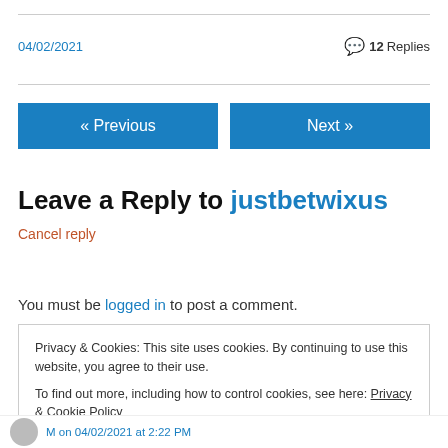04/02/2021
💬 12 Replies
« Previous
Next »
Leave a Reply to justbetwixus
Cancel reply
You must be logged in to post a comment.
Privacy & Cookies: This site uses cookies. By continuing to use this website, you agree to their use.
To find out more, including how to control cookies, see here: Privacy & Cookie Policy
Close and accept
M on 04/02/2021 at 2:22 PM